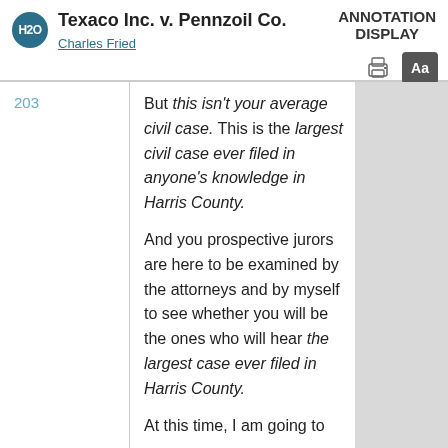Texaco Inc. v. Pennzoil Co.
Charles Fried
ANNOTATION DISPLAY
203
But this isn't your average civil case. This is the largest civil case ever filed in anyone's knowledge in Harris County.
And you prospective jurors are here to be examined by the attorneys and by myself to see whether you will be the ones who will hear the largest case ever filed in Harris County.
At this time, I am going to